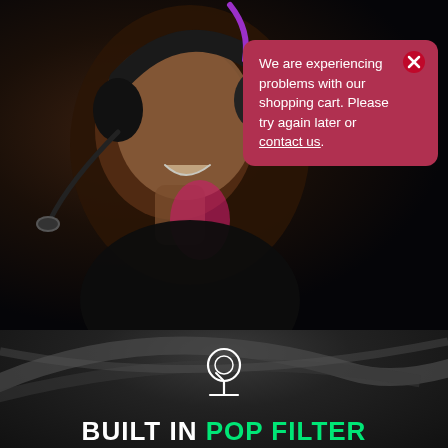[Figure (photo): A man wearing a gaming headset with a microphone, shown in profile/three-quarter view, smiling. Dark dramatic lighting with pink/magenta neon accent on the neck. The headset appears to be a black gaming headset with a flexible boom microphone.]
We are experiencing problems with our shopping cart. Please try again later or contact us.
[Figure (photo): Bottom section showing a close-up of a dark gaming headset cable/ear cup with curved lines visible against a dark background. A microphone/pop filter icon is displayed as a white line icon in the center.]
BUILT IN POP FILTER